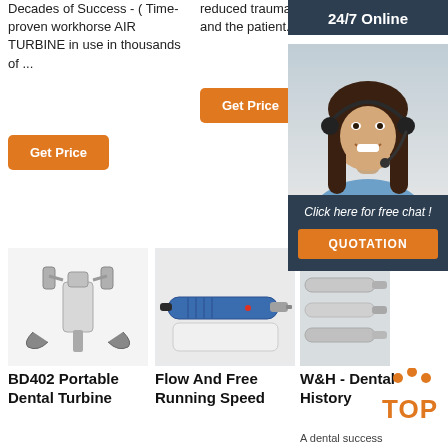Decades of Success - ( Time-proven workhorse AIR TURBINE in use in thousands of ...
reduced trauma to the tooth and the patient.
Get Price
Get Price
[Figure (infographic): 24/7 Online banner with female customer service agent wearing headset]
Click here for free chat !
QUOTATION
[Figure (photo): BD402 Portable Dental Turbine microscope device on white background]
[Figure (photo): Blue dental handpiece / flow and free running speed drill tool]
[Figure (photo): W&H dental handpieces on grey background]
BD402 Portable Dental Turbine
Flow And Free Running Speed
W&H - Dental History
[Figure (logo): TOP logo with orange dots and orange text]
A dental success